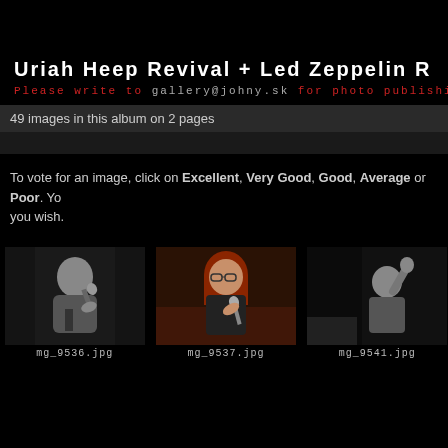Uriah Heep Revival + Led Zeppelin R
Please write to gallery@johny.sk for photo publishi
49 images in this album on 2 pages
To vote for an image, click on Excellent, Very Good, Good, Average or Poor. You wish.
[Figure (photo): Black and white photo of a woman singing into a microphone]
mg_9536.jpg
[Figure (photo): Color photo of a red-haired woman singing]
mg_9537.jpg
[Figure (photo): Black and white photo of a performer]
mg_9541.jpg